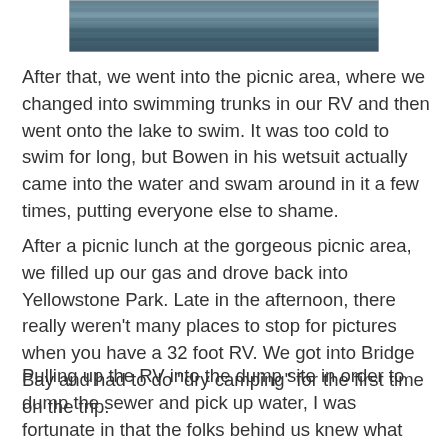[Figure (photo): A photo strip showing a lake or water surface with a muted blue-grey color, partially visible at the top of the page.]
After that, we went into the picnic area, where we changed into swimming trunks in our RV and then went onto the lake to swim. It was too cold to swim for long, but Bowen in his wetsuit actually came into the water and swam around in it a few times, putting everyone else to shame.
After a picnic lunch at the gorgeous picnic area, we filled up our gas and drove back into Yellowstone Park. Late in the afternoon, there really weren't many places to stop for pictures when you have a 32 foot RV. We got into Bridge Bay and had to do "dry camping" for the first time on the trip.
Pulling up the RV into the dump site in order to dump the sewer and pick up water, I was fortunate in that the folks behind us knew what they were doing and told me what I was doing wrong. There are two separate feeds into the RV for water. One of them filled the water tanks, while the other one was a direct connection into the internal plumbing for when you're hooked up. If you turn on the water pump inside the RV, that draws water from the tanks when you turn on